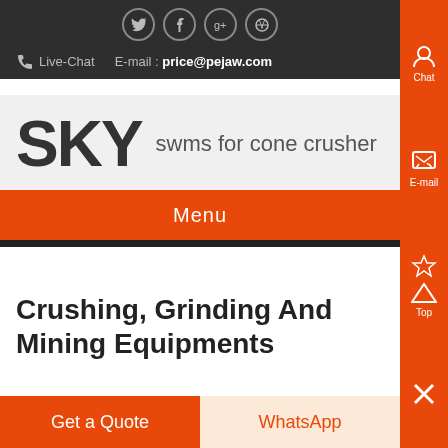[Figure (screenshot): Social media icons (Twitter, Facebook, Google+, Dribbble) in circular borders on dark background]
Live-Chat   E-mail : price@pejaw.com
SKY   swms for cone crusher
Menu
Crushing, Grinding And Mining Equipments
Get a Quote
WhatsApp